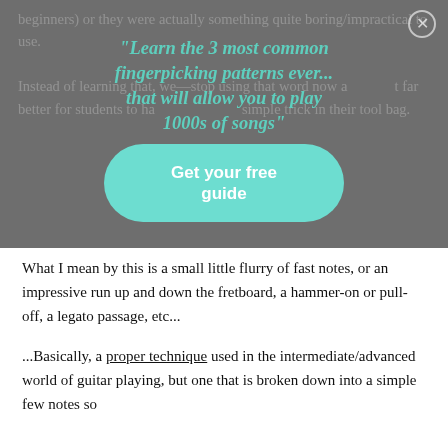[Figure (infographic): A modal/overlay popup with dark grey background and close button (X). Contains italic bold teal headline text: 'Learn the 3 most common fingerpicking patterns ever... that will allow you to play 1000s of songs'. Behind the headline, partially visible body text in muted white reads about learning techniques. A teal rounded button at the bottom says 'Get your free guide'.]
What I mean by this is a small little flurry of fast notes, or an impressive run up and down the fretboard, a hammer-on or pull-off, a legato passage, etc...
...Basically, a proper technique used in the intermediate/advanced world of guitar playing, but one that is broken down into a simple few notes so